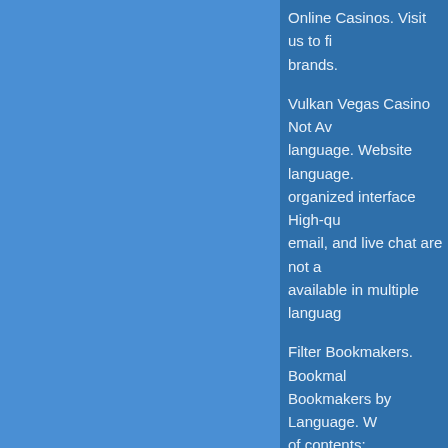Online Casinos. Visit us to find brands.
Vulkan Vegas Casino Not Available language. Website language. organized interface High-quality email, and live chat are not available in multiple languages.
Filter Bookmakers. Bookmakers Bookmakers by Language. Contents:. Frequently asked promotions? What is the highest casinos?
What does the house edge mean across all countries? Why have like high rollers? What are most
Online casino dealer for
Buhay OFW – Daily Routine